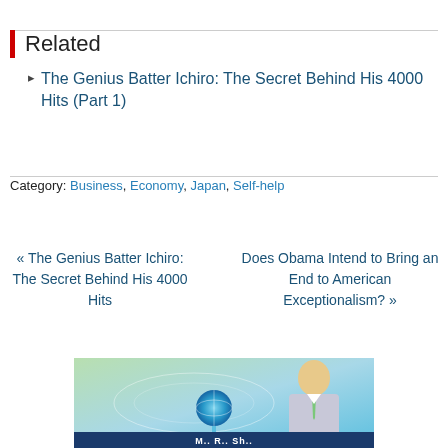Related
The Genius Batter Ichiro: The Secret Behind His 4000 Hits (Part 1)
Category: Business, Economy, Japan, Self-help
« The Genius Batter Ichiro: The Secret Behind His 4000 Hits
Does Obama Intend to Bring an End to American Exceptionalism? »
[Figure (photo): Photo of a man in a suit with a blue globe graphic behind him, with a dark blue banner at the bottom partially showing text]